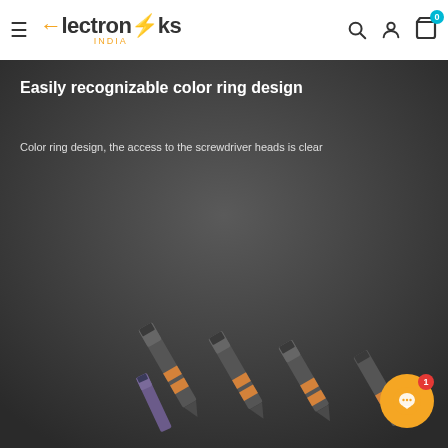Electroniks India
[Figure (photo): Product image showing screwdriver bits with color ring design on dark grey background. Title text: 'Easily recognizable color ring design'. Subtitle text: 'Color ring design, the access to the screwdriver heads is clear'. Bottom portion shows multiple screwdriver bits with orange/copper colored rings arranged diagonally.]
[Figure (other): Orange circular chat button with white speech bubble icon and red badge showing number 1]